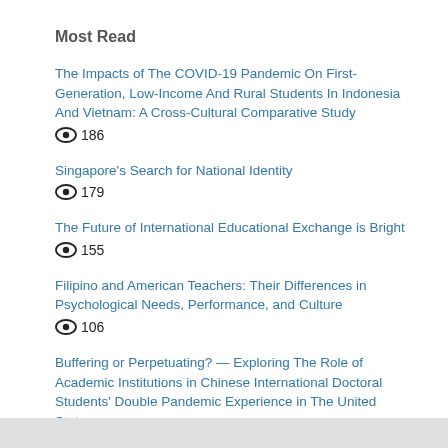Most Read
The Impacts of The COVID-19 Pandemic On First-Generation, Low-Income And Rural Students In Indonesia And Vietnam: A Cross-Cultural Comparative Study
👁 186
Singapore's Search for National Identity
👁 179
The Future of International Educational Exchange is Bright
👁 155
Filipino and American Teachers: Their Differences in Psychological Needs, Performance, and Culture
👁 106
Buffering or Perpetuating? — Exploring The Role of Academic Institutions in Chinese International Doctoral Students' Double Pandemic Experience in The United States
👁 91